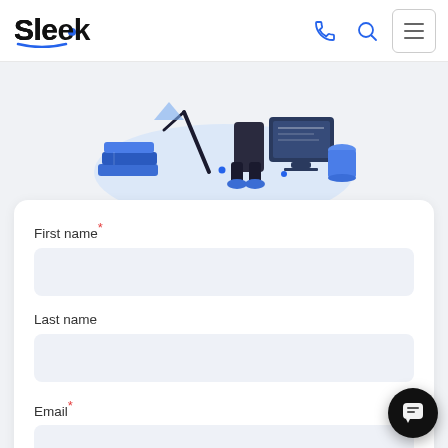Sleek
[Figure (illustration): Partial illustration showing a person sitting at a desk with a computer, books, and office items in blue tones]
First name*
Last name
Email*
Phone number*